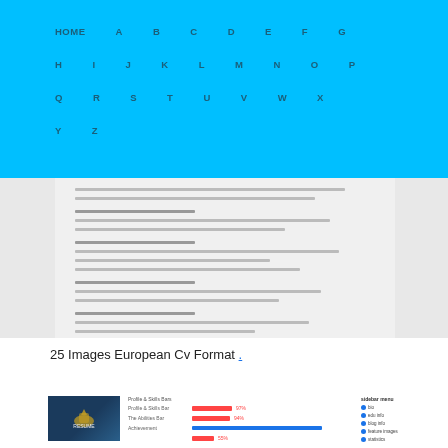HOME A B C D E F G H I J K L M N O P Q R S T U V W X Y Z
[Figure (screenshot): Blurred screenshot of a European CV format document showing work experience sections with dates and bullet points]
25 Images European Cv Format .
[Figure (screenshot): Preview of a resume/CV template website showing a dark-themed template with skill bars and sidebar navigation]